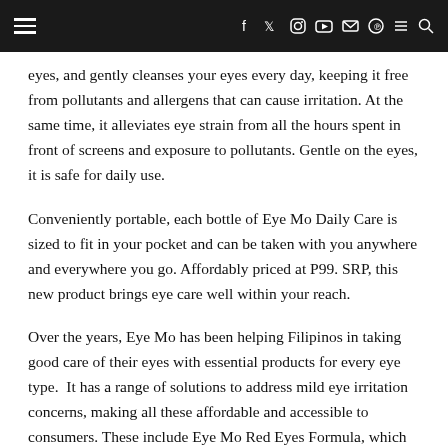Navigation bar with hamburger menu and social icons
eyes, and gently cleanses your eyes every day, keeping it free from pollutants and allergens that can cause irritation. At the same time, it alleviates eye strain from all the hours spent in front of screens and exposure to pollutants. Gentle on the eyes, it is safe for daily use.
Conveniently portable, each bottle of Eye Mo Daily Care is sized to fit in your pocket and can be taken with you anywhere and everywhere you go. Affordably priced at P99. SRP, this new product brings eye care well within your reach.
Over the years, Eye Mo has been helping Filipinos in taking good care of their eyes with essential products for every eye type.  It has a range of solutions to address mild eye irritation concerns, making all these affordable and accessible to consumers. These include Eye Mo Red Eyes Formula, which alleviates irritations from pollution, dust, smoke, or swimming; and Eye Mo Moist, to lubricate and moisturize dry and